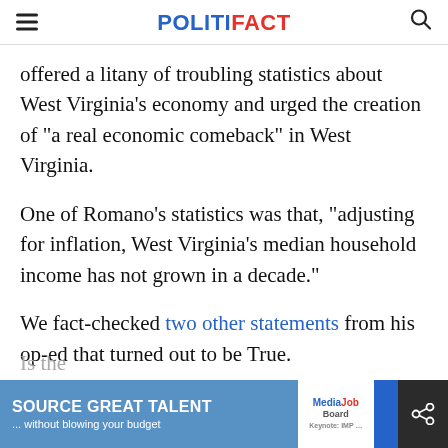POLITIFACT
offered a litany of troubling statistics about West Virginia's economy and urged the creation of "a real economic comeback" in West Virginia.
One of Romano's statistics was that, "adjusting for inflation, West Virginia's median household income has not grown in a decade."
We fact-checked two other statements from his op-ed that turned out to be True.
Is the
[Figure (other): Advertisement banner: SOURCE GREAT TALENT ... without blowing your budget. Media Job Board. Only $199.]